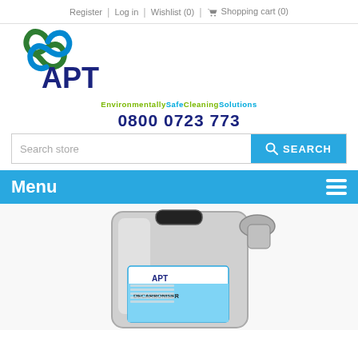Register | Log in | Wishlist (0) | Shopping cart (0)
[Figure (logo): APT logo with green and blue swirl above letters APT, tagline 'EnvironmentallySafeCleaningSolutions' in green and blue]
0800 0723 773
[Figure (screenshot): Search store input field with blue SEARCH button]
Menu
[Figure (photo): Metal jerry can / container with APT logo label reading DECARBONISER]